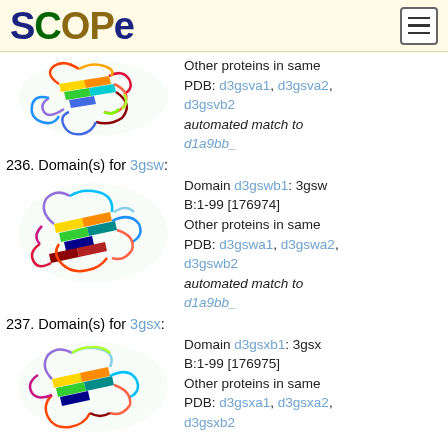SCOPe
[Figure (illustration): Protein structure ribbon diagram for 3gsv B chain, colorful rainbow-colored beta strands and loops]
Other proteins in same PDB: d3gsva1, d3gsva2, d3gsvb2
automated match to d1a9bb_
236. Domain(s) for 3gsw:
[Figure (illustration): Protein structure ribbon diagram for 3gsw B chain, colorful rainbow-colored beta strands and loops]
Domain d3gswb1: 3gsw B:1-99 [176974]
Other proteins in same PDB: d3gswa1, d3gswa2, d3gswb2
automated match to d1a9bb_
237. Domain(s) for 3gsx:
[Figure (illustration): Protein structure ribbon diagram for 3gsx B chain, colorful rainbow-colored beta strands and loops]
Domain d3gsxb1: 3gsx B:1-99 [176975]
Other proteins in same PDB: d3gsxa1, d3gsxa2, d3gsxb2